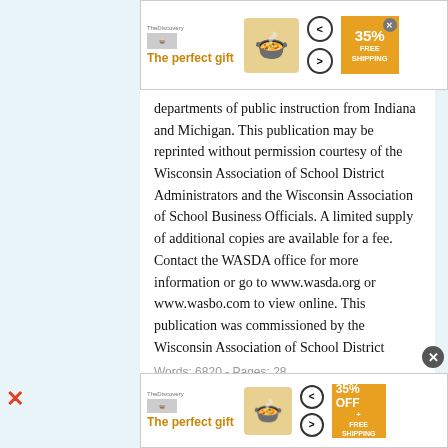[Figure (other): Top advertisement banner for 'The perfect gift' with product image, navigation arrows, and 35% FREE SHIPPING badge]
departments of public instruction from Indiana and Michigan. This publication may be reprinted without permission courtesy of the Wisconsin Association of School District Administrators and the Wisconsin Association of School Business Officials. A limited supply of additional copies are available for a fee. Contact the WASDA office for more information or go to www.wasda.org or www.wasbo.com to view online. This publication was commissioned by the Wisconsin Association of School District Administrators and Wisconsin Association of School......
Words: 6820 - Pages: 28
Premium Essay   Lyt2 Task1
Management 4 b. Administrative tasks 4 IV.
[Figure (other): Bottom advertisement banner for 'The perfect gift' with product image, navigation arrows, and 35% OFF FREE SHIPPING badge]